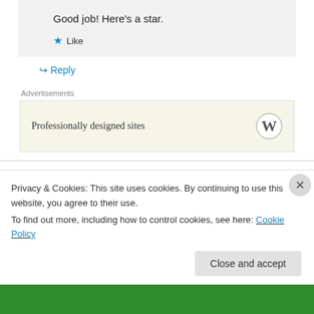Good job! Here's a star.
★ Like
↪ Reply
Advertisements
Professionally designed sites
dalaimommasreadingdrama on March 9, 2016 at 10:05 am
Privacy & Cookies: This site uses cookies. By continuing to use this website, you agree to their use.
To find out more, including how to control cookies, see here: Cookie Policy
Close and accept